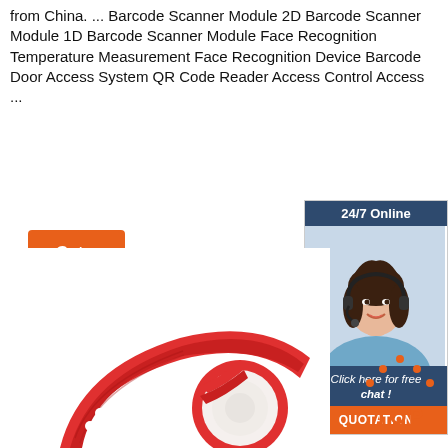from China. ... Barcode Scanner Module 2D Barcode Scanner Module 1D Barcode Scanner Module Face Recognition Temperature Measurement Face Recognition Device Barcode Door Access System QR Code Reader Access Control Access ...
[Figure (other): Orange 'Get Price' button]
[Figure (infographic): Chat widget with '24/7 Online' header, photo of woman with headset, 'Click here for free chat!' text, and orange QUOTATION button]
[Figure (photo): Red RFID wristband with circular white disc]
[Figure (infographic): Orange 'TOP' icon with dots arranged above the word TOP]